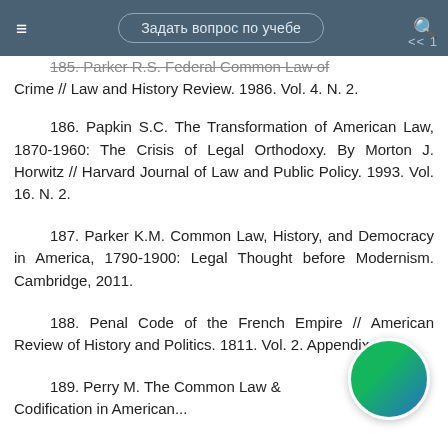≡   Задать вопрос по учебе   🔍  << 1
185. Parker R.S. Federal Common Law of Crime // Law and History Review. 1986. Vol. 4. N. 2.
186. Papkin S.C. The Transformation of American Law, 1870-1960: The Crisis of Legal Orthodoxy. By Morton J. Horwitz // Harvard Journal of Law and Public Policy. 1993. Vol. 16. N. 2.
187. Parker K.M. Common Law, History, and Democracy in America, 1790-1900: Legal Thought before Modernism. Cambridge, 2011.
188. Penal Code of the French Empire // American Review of History and Politics. 1811. Vol. 2. Appendix.
189. Perry M. The Common Law Codification in American...